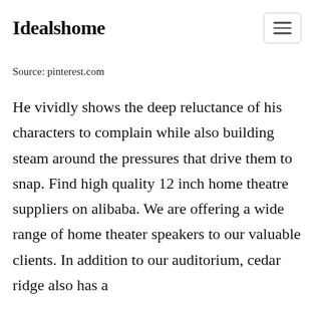Idealshome
Source: pinterest.com
He vividly shows the deep reluctance of his characters to complain while also building steam around the pressures that drive them to snap. Find high quality 12 inch home theatre suppliers on alibaba. We are offering a wide range of home theater speakers to our valuable clients. In addition to our auditorium, cedar ridge also has a